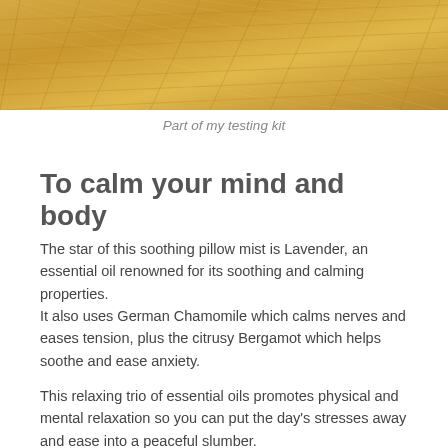[Figure (photo): Close-up photo of golden/amber straw or fiber texture filling the top portion of the page]
Part of my testing kit
To calm your mind and body
The star of this soothing pillow mist is Lavender, an essential oil renowned for its soothing and calming properties.
It also uses German Chamomile which calms nerves and eases tension, plus the citrusy Bergamot which helps soothe and ease anxiety.
This relaxing trio of essential oils promotes physical and mental relaxation so you can put the day's stresses away and ease into a peaceful slumber.
I use this pillow mist spray with my nine-year old son who's always struggled to wind down and get to sleep. The spray works well, perhaps